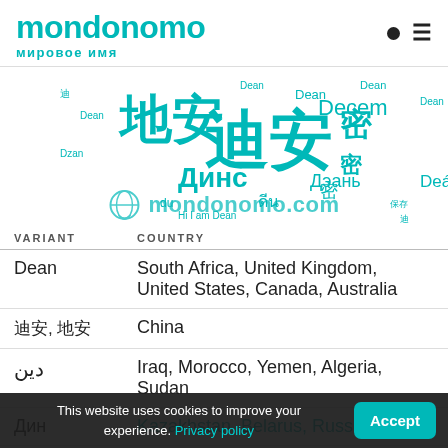mondonomo — мировое имя
[Figure (illustration): Word cloud in teal/cyan colors featuring name variants: 地安, 迪安, Динс, Dean, Деań, Дэань, ดีน, Decem, 密 and other multilingual variants of the name Dean]
| VARIANT | COUNTRY |
| --- | --- |
| Dean | South Africa, United Kingdom, United States, Canada, Australia |
| 迪安, 地安 | China |
| دين | Iraq, Morocco, Yemen, Algeria, Sudan |
| Дин | Kazakhstan, Belarus, Russia |
This website uses cookies to improve your experience. Privacy policy  Accept